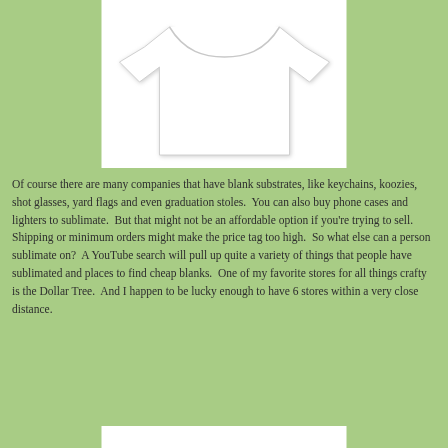[Figure (photo): A plain white t-shirt on a white background, displayed as a product photo.]
Of course there are many companies that have blank substrates, like keychains, koozies, shot glasses, yard flags and even graduation stoles.  You can also buy phone cases and lighters to sublimate.  But that might not be an affordable option if you're trying to sell.  Shipping or minimum orders might make the price tag too high.  So what else can a person sublimate on?  A YouTube search will pull up quite a variety of things that people have sublimated and places to find cheap blanks.  One of my favorite stores for all things crafty is the Dollar Tree.  And I happen to be lucky enough to have 6 stores within a very close distance.
[Figure (photo): Bottom portion of a white box or product image, partially visible at the bottom of the page.]